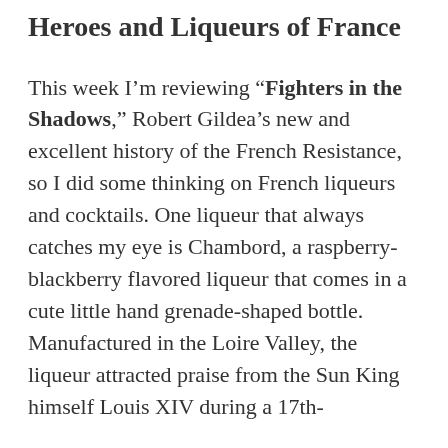Heroes and Liqueurs of France
This week I'm reviewing “Fighters in the Shadows,” Robert Gildea’s new and excellent history of the French Resistance, so I did some thinking on French liqueurs and cocktails. One liqueur that always catches my eye is Chambord, a raspberry-blackberry flavored liqueur that comes in a cute little hand grenade-shaped bottle. Manufactured in the Loire Valley, the liqueur attracted praise from the Sun King himself Louis XIV during a 17th-